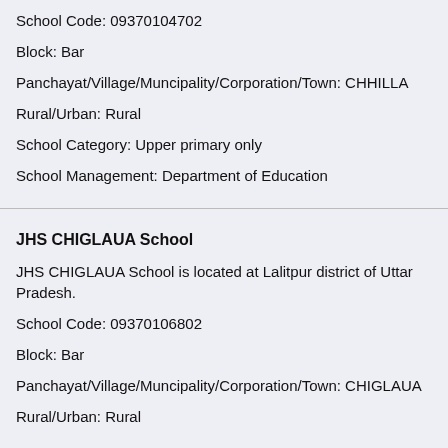School Code: 09370104702
Block: Bar
Panchayat/Village/Muncipality/Corporation/Town: CHHILLA
Rural/Urban: Rural
School Category: Upper primary only
School Management: Department of Education
JHS CHIGLAUA School
JHS CHIGLAUA School is located at Lalitpur district of Uttar Pradesh.
School Code: 09370106802
Block: Bar
Panchayat/Village/Muncipality/Corporation/Town: CHIGLAUA
Rural/Urban: Rural